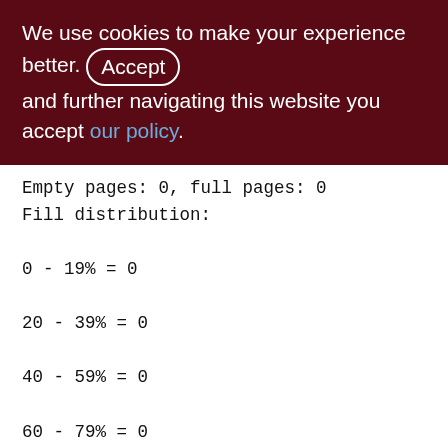We use cookies to make your experience better. By accepting and further navigating this website you accept our policy.
Empty pages: 0, full pages: 0
Fill distribution:
0 - 19% = 0
20 - 39% = 0
40 - 59% = 0
60 - 79% = 0
80 - 99% = 0
Index TMP_RESULT_SET_DOC (1)
Root page: 222, depth: 1, leaf buckets: 1, nodes: 0
Average node length: 0.00, total dup: 0,